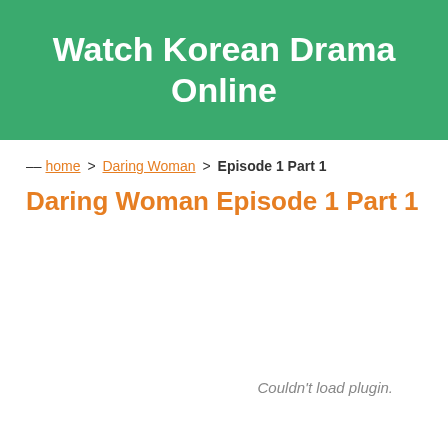Watch Korean Drama Online
-- home > Daring Woman > Episode 1 Part 1
Daring Woman Episode 1 Part 1
Couldn't load plugin.